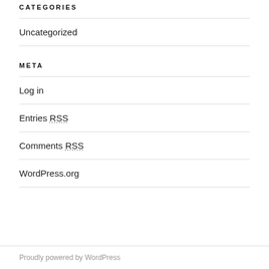CATEGORIES
Uncategorized
META
Log in
Entries RSS
Comments RSS
WordPress.org
Proudly powered by WordPress